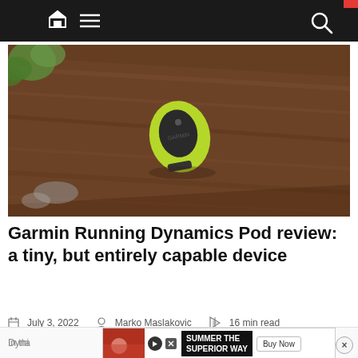Navigation bar with home icon, menu icon, and search icon
[Figure (photo): A small lime-green Garmin Running Dynamics Pod device with a dark oval sensor face sitting on a wooden surface, with green foliage visible in the background.]
Garmin Running Dynamics Pod review: a tiny, but entirely capable device
July 3, 2022   Marko Maslakovic   16 min read
In thi... Dyna...
SUMMER THE SUPERIOR WAY  Buy Now